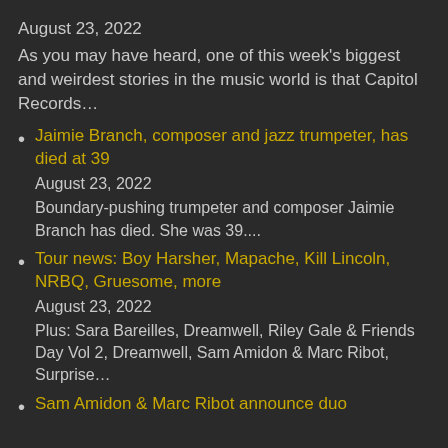August 23, 2022
As you may have heard, one of this week's biggest and weirdest stories in the music world is that Capitol Records…
Jaimie Branch, composer and jazz trumpeter, has died at 39 | August 23, 2022 | Boundary-pushing trumpeter and composer Jaimie Branch has died. She was 39....
Tour news: Boy Harsher, Mapache, Kill Lincoln, NRBQ, Gruesome, more | August 23, 2022 | Plus: Sara Bareilles, Dreamwell, Riley Gale & Friends Day Vol 2, Dreamwell, Sam Amidon & Marc Ribot, Surprise…
Sam Amidon & Marc Ribot announce duo